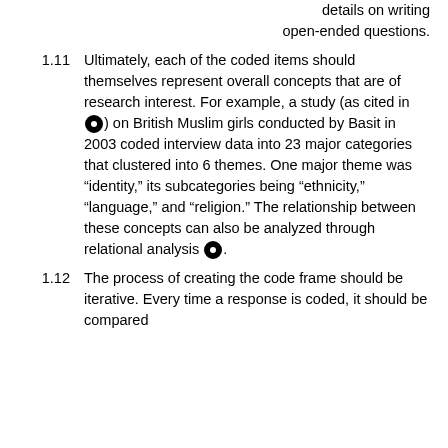details on writing open-ended questions.
1.11  Ultimately, each of the coded items should themselves represent overall concepts that are of research interest. For example, a study (as cited in [icon]) on British Muslim girls conducted by Basit in 2003 coded interview data into 23 major categories that clustered into 6 themes. One major theme was “identity,” its subcategories being “ethnicity,” “language,” and “religion.” The relationship between these concepts can also be analyzed through relational analysis [icon].
1.12  The process of creating the code frame should be iterative. Every time a response is coded, it should be compared